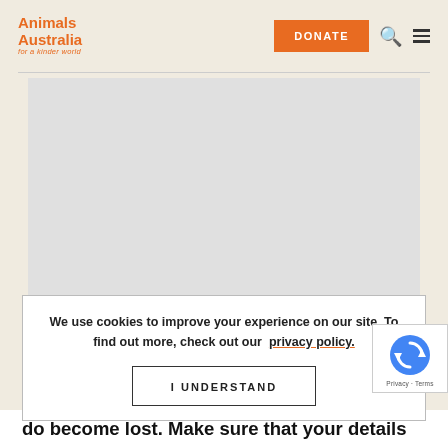[Figure (logo): Animals Australia logo with text 'Animals Australia for a kinder world' in orange]
[Figure (screenshot): Orange DONATE button with search icon and hamburger menu icon on right side of header]
[Figure (other): Gray placeholder content area below navigation header]
We use cookies to improve your experience on our site. To find out more, check out our privacy policy.
[Figure (screenshot): I UNDERSTAND button inside cookie consent banner]
[Figure (logo): reCAPTCHA badge with circular arrow icon and Privacy - Terms text]
do become lost. Make sure that your details